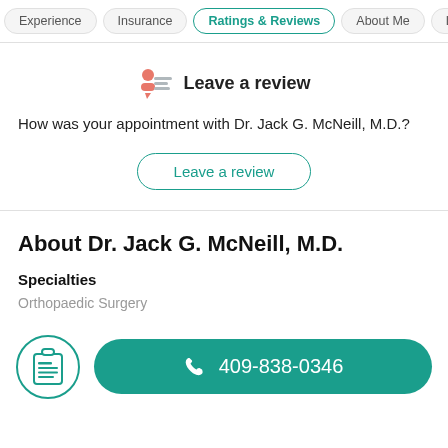Experience | Insurance | Ratings & Reviews | About Me | Loc…
Leave a review
How was your appointment with Dr. Jack G. McNeill, M.D.?
Leave a review
About Dr. Jack G. McNeill, M.D.
Specialties
Orthopaedic Surgery
409-838-0346